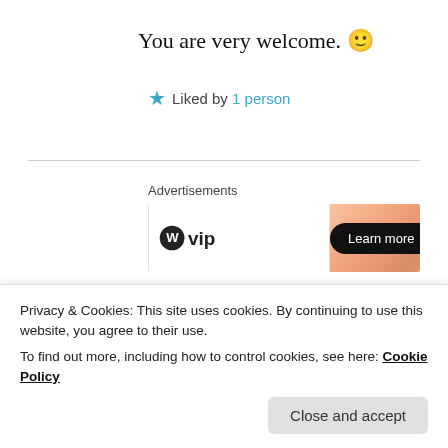You are very welcome. 🙂
★ Liked by 1 person
Advertisements
[Figure (other): WordPress VIP advertisement banner with gradient orange background and 'Learn more →' button]
SUBBASHINI MEENAKSHI SUNDARAM
Privacy & Cookies: This site uses cookies. By continuing to use this website, you agree to their use. To find out more, including how to control cookies, see here: Cookie Policy
Close and accept
★ Liked by 3 people